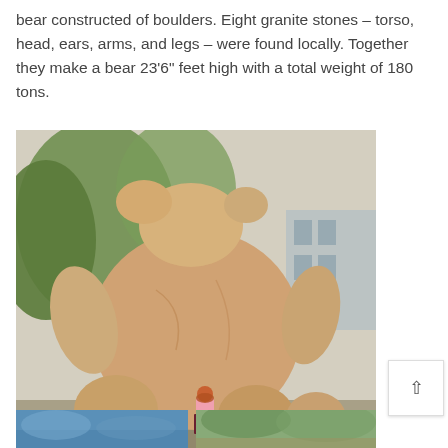bear constructed of boulders. Eight granite stones – torso, head, ears, arms, and legs – were found locally. Together they make a bear 23'6" feet high with a total weight of 180 tons.
[Figure (photo): Large granite boulder bear sculpture in an outdoor setting with trees and a building in the background. A person with red hair wearing a floral top and dark skirt stands at the base for scale, illustrating the enormous size of the sculpture.]
[Figure (photo): Bottom left partial photo, appears to show a blue or water-related scene.]
[Figure (photo): Bottom right partial photo, appears to show a green outdoor scene.]